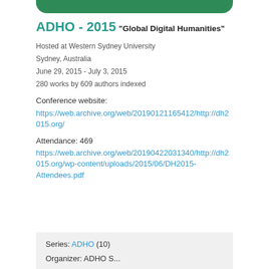[Figure (other): Green rounded bar at top of card]
ADHO - 2015
"Global Digital Humanities"
Hosted at Western Sydney University
Sydney, Australia
June 29, 2015 - July 3, 2015
280 works by 609 authors indexed
Conference website:
https://web.archive.org/web/20190121165412/http://dh2015.org/
Attendance: 469
https://web.archive.org/web/20190422031340/http://dh2015.org/wp-content/uploads/2015/06/DH2015-Attendees.pdf
Series: ADHO (10)
Organizer: ADHO S...